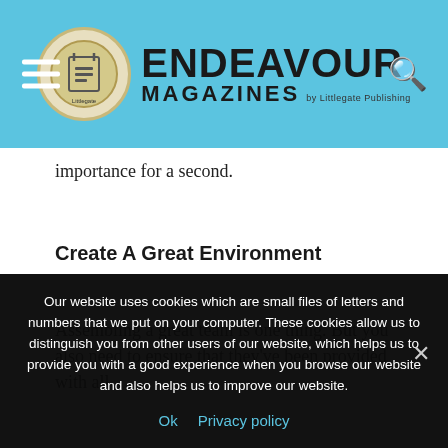Endeavour Magazines by Littlegate Publishing
importance for a second.
Create A Great Environment
Assembling a great team is one thing. But you also need to ensure that they've been provided with all
Our website uses cookies which are small files of letters and numbers that we put on your computer. These cookies allow us to distinguish you from other users of our website, which helps us to provide you with a good experience when you browse our website and also helps us to improve our website.
Ok   Privacy policy